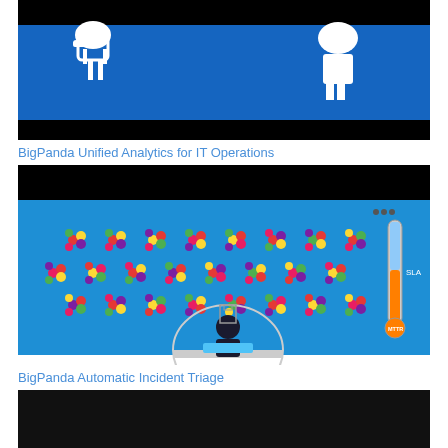[Figure (screenshot): Video thumbnail showing a cartoon-style illustration with white stick figures on a blue and black background for BigPanda Unified Analytics for IT Operations]
BigPanda Unified Analytics for IT Operations
[Figure (screenshot): Video thumbnail showing colorful flower-like cluster icons on a blue background with a thermometer gauge labeled SLA and MTTR, and a person at a workstation inside a dome illustration]
BigPanda Automatic Incident Triage
[Figure (screenshot): Video thumbnail partially visible at the bottom, black background]